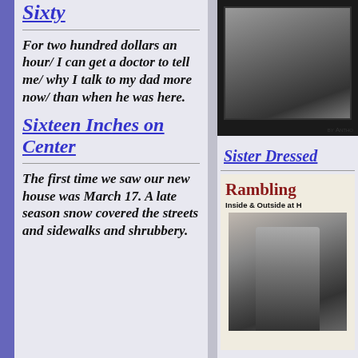Sixty
For two hundred dollars an hour/ I can get a doctor to tell me/ why I talk to my dad more now/ than when he was here.
Sixteen Inches on Center
The first time we saw our new house was March 17. A late season snow covered the streets and sidewalks and shrubbery.
[Figure (photo): Book cover with dark border and photograph]
by ANTHONY
Sister Dressed
[Figure (photo): Book cover titled Rambling Inside & Outside at H with photo of child]
Rambling
Inside & Outside at H